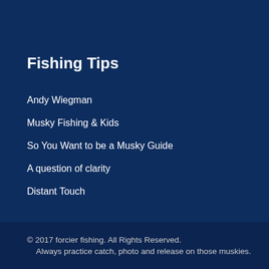Fishing Tips
Andy Wiegman
Musky Fishing & Kids
So You Want to be a Musky Guide
A question of clarity
Distant Touch
© 2017 forcier fishing. All Rights Reserved.
Always practice catch, photo and release on those muskies.